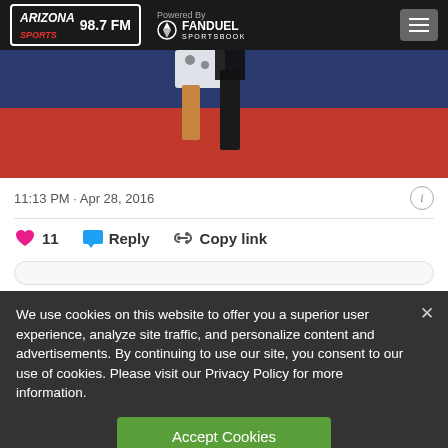ARIZONA SPORTS 98.7 FM | Powered By FANDUEL SPORTSBOOK
[Figure (photo): Partial lower body photo of people standing in front of a red and blue flag or banner background]
11:13 PM · Apr 28, 2016
11 · Reply · Copy link
We use cookies on this website to offer you a superior user experience, analyze site traffic, and personalize content and advertisements. By continuing to use our site, you consent to our use of cookies. Please visit our Privacy Policy for more information.
Accept Cookies